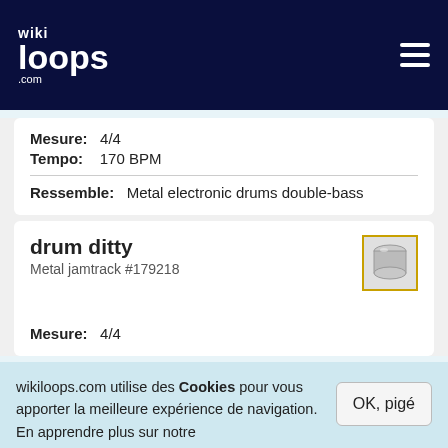wikiloops.com
Mesure: 4/4
Tempo: 170 BPM
Ressemble: Metal electronic drums double-bass
drum ditty
Metal jamtrack #179218
[Figure (photo): Drum icon thumbnail with gold border]
Mesure: 4/4
wikiloops.com utilise des Cookies pour vous apporter la meilleure expérience de navigation. En apprendre plus sur notre charte des données privées .